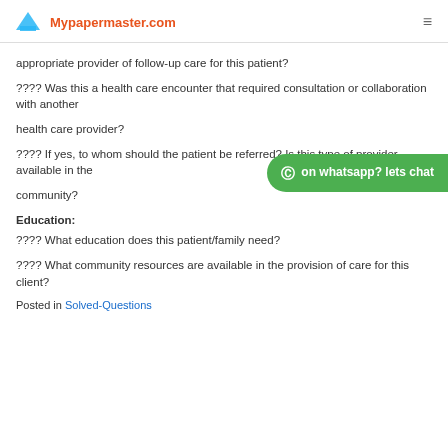Mypapermaster.com
appropriate provider of follow-up care for this patient?
???? Was this a health care encounter that required consultation or collaboration with another
health care provider?
???? If yes, to whom should the patient be referred? Is this type of provider available in the
community?
Education:
???? What education does this patient/family need?
???? What community resources are available in the provision of care for this client?
Posted in Solved-Questions